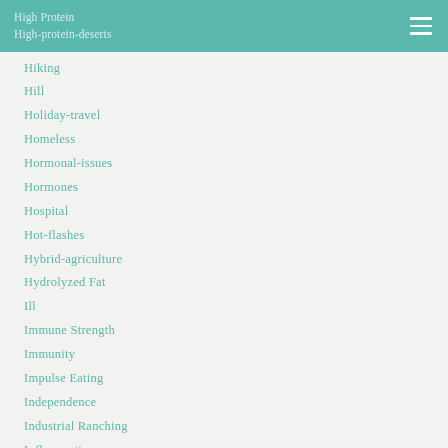High Protein
High-protein-deserts
Hiking
Hill
Holiday-travel
Homeless
Hormonal-issues
Hormones
Hospital
Hot-flashes
Hybrid-agriculture
Hydrolyzed Fat
Ill
Immune Strength
Immunity
Impulse Eating
Independence
Industrial Ranching
Inflammation
Ingredient Labels
Ingredient Reading